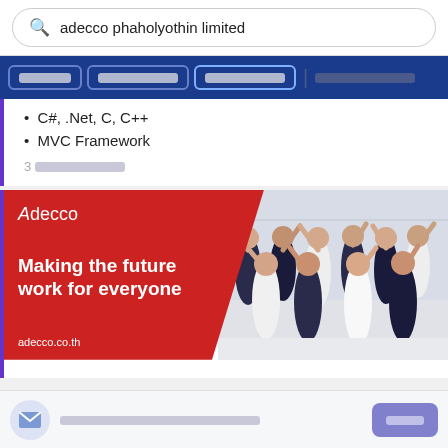adecco phaholyothin limited
C#, .Net, C, C++
MVC Framework
3 [Thai text]
[Figure (illustration): Adecco advertisement banner with red background showing 'Making the future work for everyone' and adecco.co.th, with a group photo of business professionals on the right.]
[Thai text notification bar at bottom]